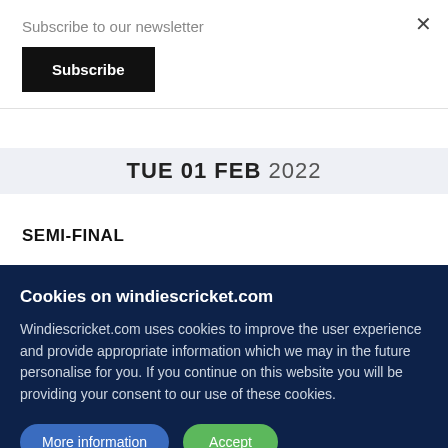Subscribe to our newsletter
Subscribe
×
TUE 01 FEB 2022
SEMI-FINAL
Cookies on windiescricket.com
Windiescricket.com uses cookies to improve the user experience and provide appropriate information which we may in the future personalise for you. If you continue on this website you will be providing your consent to our use of these cookies.
More information
Accept